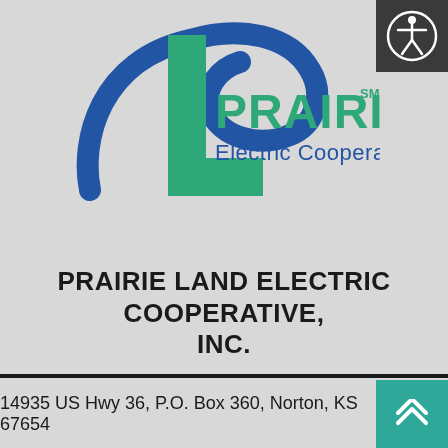[Figure (logo): Prairie Land Electric Cooperative, Inc. logo — green letter L shape with blue swoosh arc, teal/green text 'PRAIRIE LAND' and blue text 'Electric Cooperative, Inc.' with SM superscript]
PRAIRIE LAND ELECTRIC COOPERATIVE, INC.
14935 US Hwy 36, P.O. Box 360, Norton, KS 67654